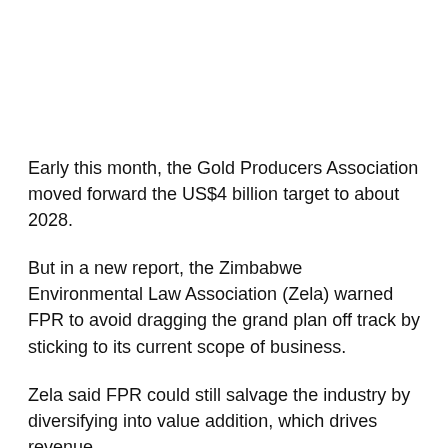Early this month, the Gold Producers Association moved forward the US$4 billion target to about 2028.
But in a new report, the Zimbabwe Environmental Law Association (Zela) warned FPR to avoid dragging the grand plan off track by sticking to its current scope of business.
Zela said FPR could still salvage the industry by diversifying into value addition, which drives revenue.
It said FPR must roll out strategies that give it traction to hold sway on the domestic bullion market by pushing out armies of illegal gold buying kingpins who currently rule the